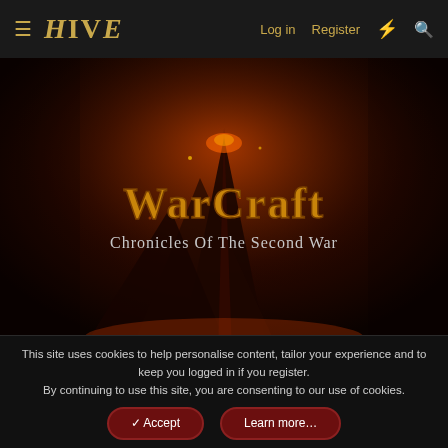HIVE — Log in  Register
[Figure (screenshot): WarCraft: Chronicles Of The Second War banner image with fiery volcanic background and golden fantasy text logo]
Are you planning to upload your awesome model to Hive? Please review the rules here.
We need your help running the site. Check out the Staff Job Openings thread.
This site uses cookies to help personalise content, tailor your experience and to keep you logged in if you register.
By continuing to use this site, you are consenting to our use of cookies.
✓ Accept   Learn more…